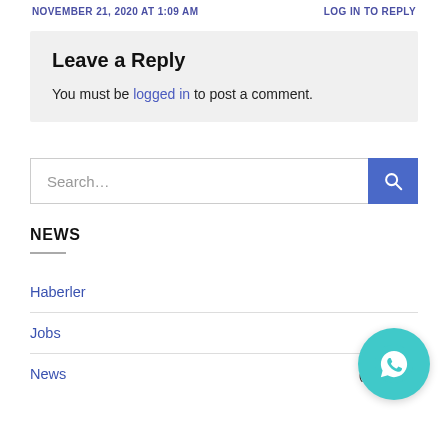NOVEMBER 21, 2020 AT 1:09 AM   LOG IN TO REPLY
Leave a Reply
You must be logged in to post a comment.
Search...
NEWS
Haberler
Jobs
News (2,035)